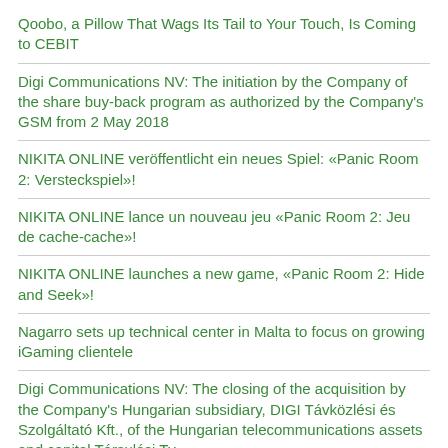Qoobo, a Pillow That Wags Its Tail to Your Touch, Is Coming to CEBIT
Digi Communications NV: The initiation by the Company of the share buy-back program as authorized by the Company's GSM from 2 May 2018
NIKITA ONLINE veröffentlicht ein neues Spiel: «Panic Room 2: Versteckspiel»!
NIKITA ONLINE lance un nouveau jeu «Panic Room 2: Jeu de cache-cache»!
NIKITA ONLINE launches a new game, «Panic Room 2: Hide and Seek»!
Nagarro sets up technical center in Malta to focus on growing iGaming clientele
Digi Communications NV: The closing of the acquisition by the Company's Hungarian subsidiary, DIGI Távközlési és Szolgáltató Kft., of the Hungarian telecommunications assets and capital Társulási Tv.